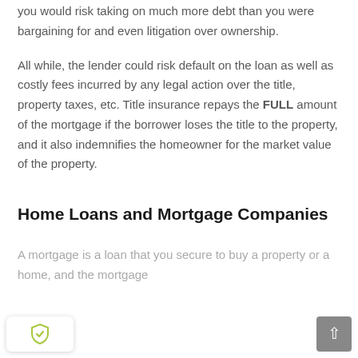you would risk taking on much more debt than you were bargaining for and even litigation over ownership.
All while, the lender could risk default on the loan as well as costly fees incurred by any legal action over the title, property taxes, etc. Title insurance repays the FULL amount of the mortgage if the borrower loses the title to the property, and it also indemnifies the homeowner for the market value of the property.
Home Loans and Mortgage Companies
A mortgage is a loan that you secure to buy a property or a home, and the mortgage